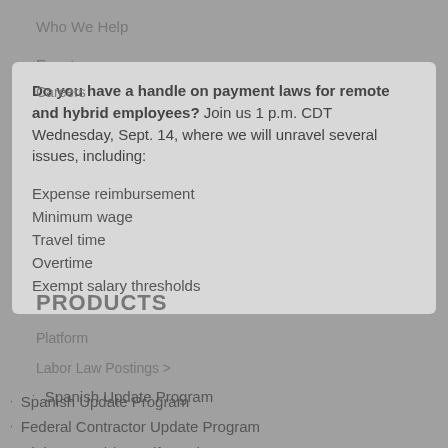Who We Help
Events
Careers
Do you have a handle on payment laws for remote and hybrid employees? Join us 1 p.m. CDT Wednesday, Sept. 14, where we will unravel several issues, including:
Expense reimbursement
Minimum wage
PRODUCTS
Travel time
Platform
Overtime
Labor Law Postings
Exempt salary thresholds
Spanish Update Program
Federal Contractor Update Program
Right to Work/E-Verify Update Program
Canada Update Program